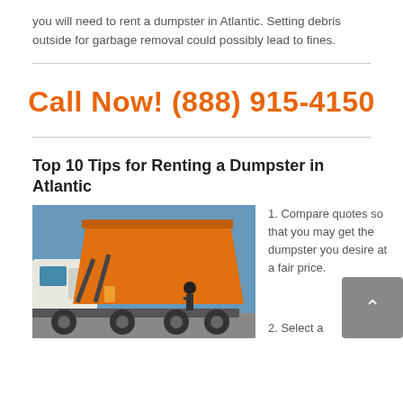you will need to rent a dumpster in Atlantic. Setting debris outside for garbage removal could possibly lead to fines.
Call Now! (888) 915-4150
Top 10 Tips for Renting a Dumpster in Atlantic
[Figure (photo): A truck with an orange roll-off dumpster being unloaded, with a worker standing nearby against a blue sky.]
1. Compare quotes so that you may get the dumpster you desire at a fair price.
2. Select a